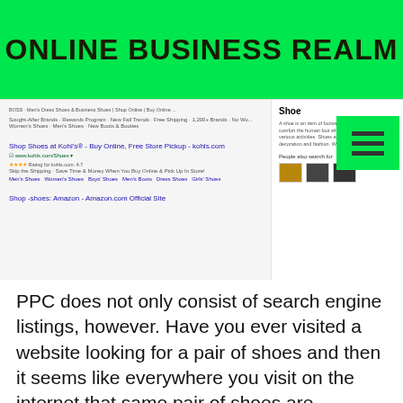ONLINE BUSINESS REALM
[Figure (screenshot): Google search results page for 'shoes' showing Kohl's and Amazon listings on the left, and a knowledge panel about shoes on the right with a green hamburger menu overlay in the top right corner.]
PPC does not only consist of search engine listings, however. Have you ever visited a website looking for a pair of shoes and then it seems like everywhere you visit on the internet that same pair of shoes are showing up? When you scroll down your Facebook feed there is a big ad for the shoes. You go to your favorite blog and on their sidebar is an ad for those shoes. You cannot seem to escape the shoes. This also is PPC. This is called an ad network. It's several websites on